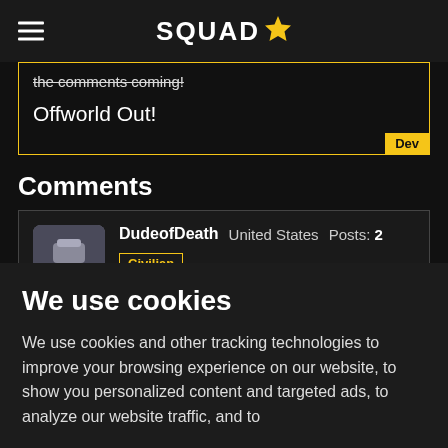SQUAD
the comments coming!
Offworld Out!
Comments
DudeofDeath  United States  Posts: 2  Civilian  July 2021
We use cookies
We use cookies and other tracking technologies to improve your browsing experience on our website, to show you personalized content and targeted ads, to analyze our website traffic, and to